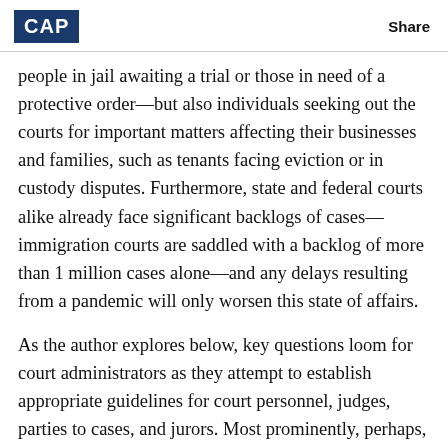CAP   Share
people in jail awaiting a trial or those in need of a protective order—but also individuals seeking out the courts for important matters affecting their businesses and families, such as tenants facing eviction or in custody disputes. Furthermore, state and federal courts alike already face significant backlogs of cases—immigration courts are saddled with a backlog of more than 1 million cases alone—and any delays resulting from a pandemic will only worsen this state of affairs.
As the author explores below, key questions loom for court administrators as they attempt to establish appropriate guidelines for court personnel, judges, parties to cases, and jurors. Most prominently, perhaps, is that courts appear to be grappling with how to decide